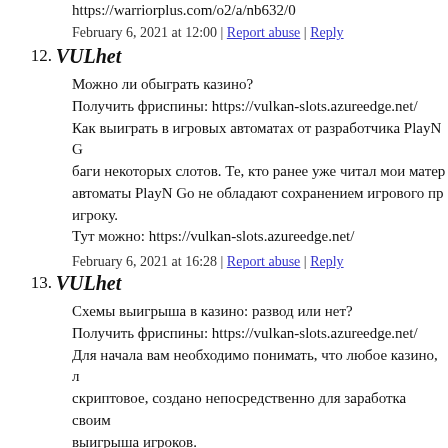https://warriorplus.com/o2/a/nb632/0
February 6, 2021 at 12:00 | Report abuse | Reply
12. VULhet
Можно ли обыграть казино?
Получить фриспины: https://vulkan-slots.azureedge.net/
Как выиграть в игровых автоматах от разработчика PlayN G баги некоторых слотов. Те, кто ранее уже читал мои матер автоматы PlayN Go не обладают сохранением игрового пр игроку.
Тут можно: https://vulkan-slots.azureedge.net/
February 6, 2021 at 16:28 | Report abuse | Reply
13. VULhet
Схемы выигрыша в казино: развод или нет?
Получить фриспины: https://vulkan-slots.azureedge.net/
Для начала вам необходимо понимать, что любое казино, л скриптовое, создано непосредственно для заработка своим выигрыша игроков.
Тут можно: https://vulkan-slots.azureedge.net/
February 6, 2021 at 17:57 | Report abuse | Reply
14. VULhet